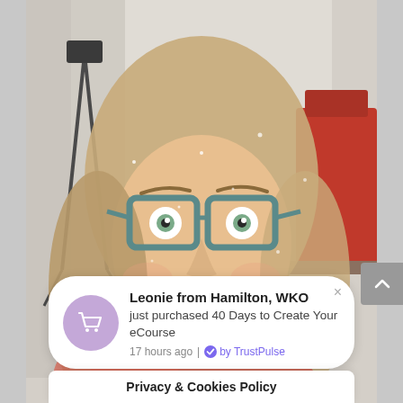[Figure (photo): Selfie photo of a smiling woman with glasses, long blonde hair, wearing teal beaded necklace, mouth open wide in excitement. Indoor background with camera stand and red decor visible.]
Leonie from Hamilton, WKO
just purchased 40 Days to Create Your eCourse
17 hours ago | by TrustPulse
Privacy & Cookies Policy